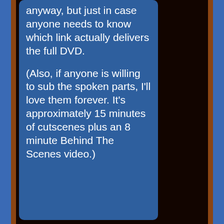anyway, but just in case anyone needs to know which link actually delivers the full DVD.

(Also, if anyone is willing to sub the spoken parts, I'll love them forever. It's approximately 15 minutes of cutscenes plus an 8 minute Behind The Scenes video.)